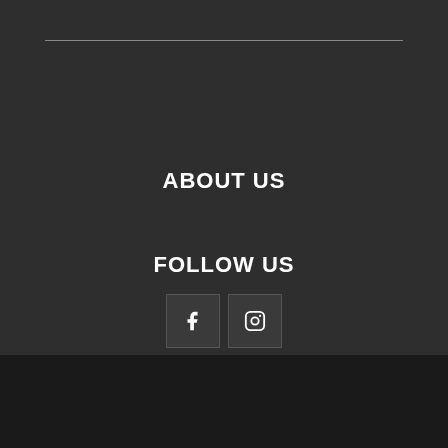ABOUT US
FOLLOW US
[Figure (other): Social media icons: Facebook (f) and Instagram (camera icon) as square buttons]
Home   Blog   About me   Contact   Omg Omg
©